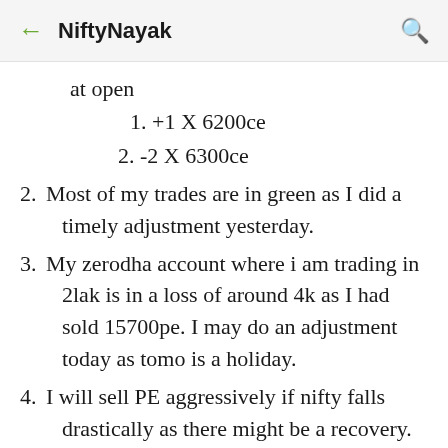← NiftyNayak 🔍
at open
1. +1 X 6200ce
2. -2 X 6300ce
2. Most of my trades are in green as I did a timely adjustment yesterday.
3. My zerodha account where i am trading in 2lak is in a loss of around 4k as I had sold 15700pe. I may do an adjustment today as tomo is a holiday.
4. I will sell PE aggressively if nifty falls drastically as there might be a recovery.
INTERNATIONAL MARKETS